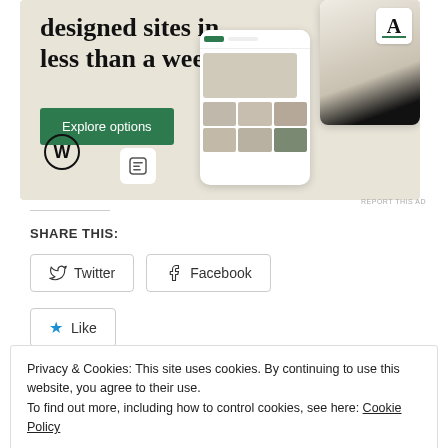[Figure (screenshot): WordPress.com advertisement banner showing 'designed sites in less than a week' headline with a green 'Explore options' button, WordPress logo, and mockup images of website designs on phone and tablet screens.]
REPORT THIS AD
SHARE THIS:
Twitter
Facebook
Like
Privacy & Cookies: This site uses cookies. By continuing to use this website, you agree to their use.
To find out more, including how to control cookies, see here: Cookie Policy
Close and accept